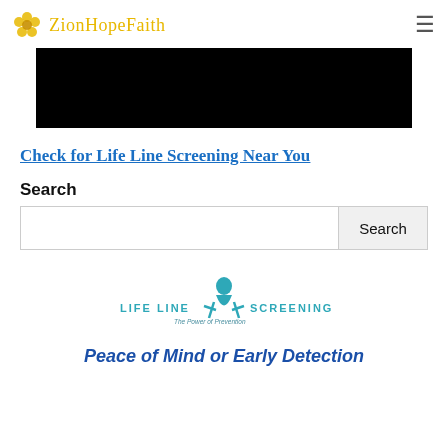ZionHopeFaith
[Figure (other): Black banner/video placeholder area]
Check for Life Line Screening Near You
Search
[Figure (other): Search input box and Search button]
[Figure (logo): Life Line Screening logo - The Power of Prevention]
Peace of Mind or Early Detection